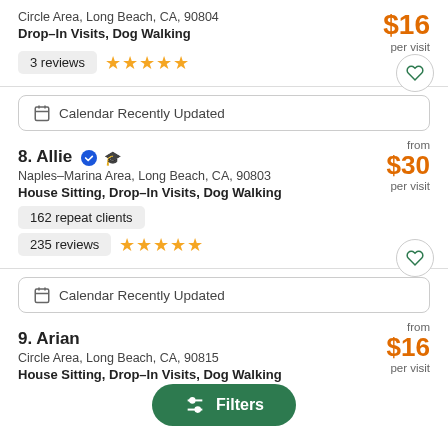Circle Area, Long Beach, CA, 90804
Drop-In Visits, Dog Walking
$16 per visit
3 reviews ★★★★★
Calendar Recently Updated
8. Allie
Naples-Marina Area, Long Beach, CA, 90803
House Sitting, Drop-In Visits, Dog Walking
from $30 per visit
162 repeat clients
235 reviews ★★★★★
Calendar Recently Updated
9. Arian
Circle Area, Long Beach, CA, 90815
House Sitting, Drop-In Visits, Dog Walking
from $16 per visit
Filters